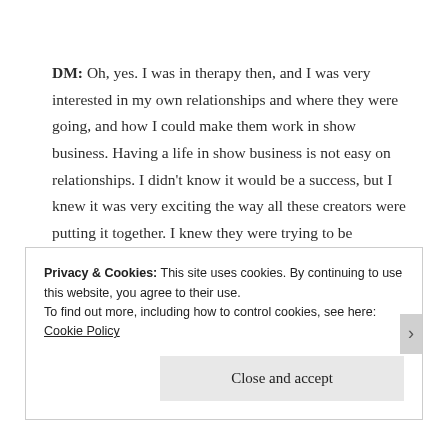DM: Oh, yes. I was in therapy then, and I was very interested in my own relationships and where they were going, and how I could make them work in show business. Having a life in show business is not easy on relationships. I didn't know it would be a success, but I knew it was very exciting the way all these creators were putting it together. I knew they were trying to be
Privacy & Cookies: This site uses cookies. By continuing to use this website, you agree to their use. To find out more, including how to control cookies, see here: Cookie Policy
Close and accept